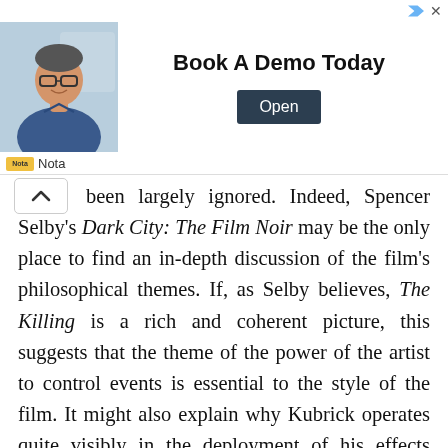[Figure (other): Advertisement banner with photo of man in glasses and blue shirt, headline 'Book A Demo Today', Open button, and Nota branding]
been largely ignored. Indeed, Spencer Selby's Dark City: The Film Noir may be the only place to find an in-depth discussion of the film's philosophical themes. If, as Selby believes, The Killing is a rich and coherent picture, this suggests that the theme of the power of the artist to control events is essential to the style of the film. It might also explain why Kubrick operates quite visibly in the deployment of his effects rather than remaining hidden behind the scenes. Ultimately, The Killing is philosophically noteworthy for its use of twists of fate as a plot device and a methodology for